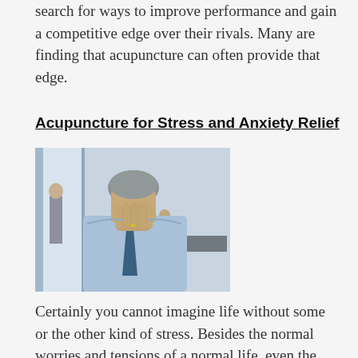search for ways to improve performance and gain a competitive edge over their rivals. Many are finding that acupuncture can often provide that edge.
Acupuncture for Stress and Anxiety Relief
[Figure (photo): A stressed businessman in a light blue shirt and tie, pressing his hand to his face in distress. In the background, two blurred figures are visible in what appears to be a meeting room environment.]
Certainly you cannot imagine life without some or the other kind of stress. Besides the normal worries and tensions of a normal life, even the positive events in